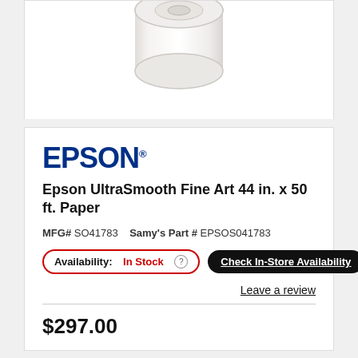[Figure (photo): Partial view of an Epson paper roll product on a white background, top portion visible]
Epson UltraSmooth Fine Art 44 in. x 50 ft. Paper
MFG# SO41783   Samy's Part # EPSOS041783
Availability: In Stock  Check In-Store Availability
Leave a review
$297.00